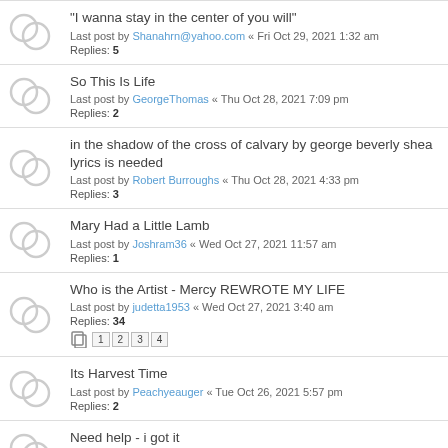"I wanna stay in the center of you will"
Last post by Shanahrn@yahoo.com « Fri Oct 29, 2021 1:32 am
Replies: 5
So This Is Life
Last post by GeorgeThomas « Thu Oct 28, 2021 7:09 pm
Replies: 2
in the shadow of the cross of calvary by george beverly shea lyrics is needed
Last post by Robert Burroughs « Thu Oct 28, 2021 4:33 pm
Replies: 3
Mary Had a Little Lamb
Last post by Joshram36 « Wed Oct 27, 2021 11:57 am
Replies: 1
Who is the Artist - Mercy REWROTE MY LIFE
Last post by judetta1953 « Wed Oct 27, 2021 3:40 am
Replies: 34
Its Harvest Time
Last post by Peachyeauger « Tue Oct 26, 2021 5:57 pm
Replies: 2
Need help - i got it
Last post by songinmyheart « Mon Oct 25, 2021 7:57 pm
Replies: 1